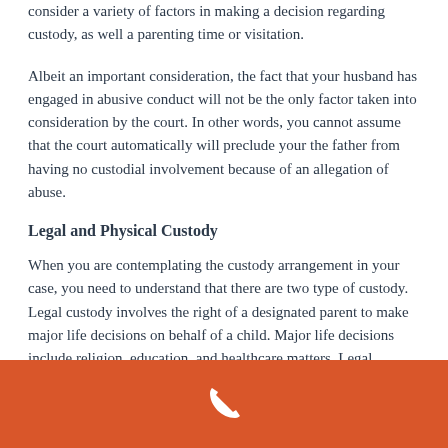consider a variety of factors in making a decision regarding custody, as well a parenting time or visitation.
Albeit an important consideration, the fact that your husband has engaged in abusive conduct will not be the only factor taken into consideration by the court. In other words, you cannot assume that the court automatically will preclude your the father from having no custodial involvement because of an allegation of abuse.
Legal and Physical Custody
When you are contemplating the custody arrangement in your case, you need to understand that there are two type of custody. Legal custody involves the right of a designated parent to make major life decisions on behalf of a child. Major life decisions include religion, education, and healthcare matters. Legal custody can be solely granted to one parent or shared by both.
[Figure (other): Orange/red footer bar with a white telephone handset icon centered]